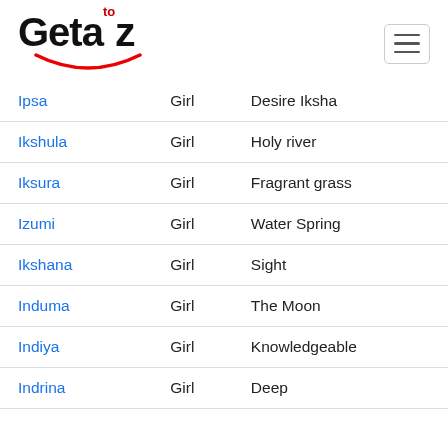[Figure (logo): Geta to z logo with red superscript 'to' and a smile arc below]
| Name | Gender | Meaning |
| --- | --- | --- |
| Ipsa | Girl | Desire Iksha |
| Ikshula | Girl | Holy river |
| Iksura | Girl | Fragrant grass |
| Izumi | Girl | Water Spring |
| Ikshana | Girl | Sight |
| Induma | Girl | The Moon |
| Indiya | Girl | Knowledgeable |
| Indrina | Girl | Deep |